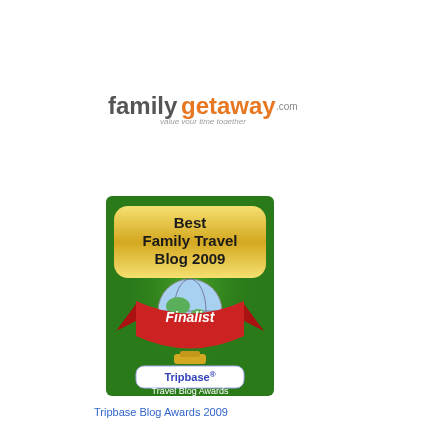[Figure (logo): familygetaway.com logo with tagline 'value your time together']
[Figure (illustration): Tripbase Travel Blog Awards badge: 'Best Family Travel Blog 2009 Finalist' on green background with globe and red ribbon]
Tripbase Blog Awards 2009